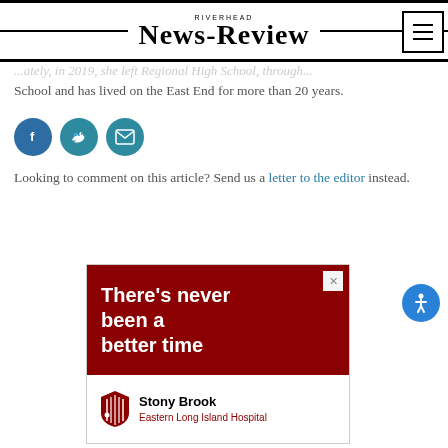RIVERHEAD NEWS-REVIEW
School and has lived on the East End for more than 20 years.
[Figure (other): Social sharing icons: Facebook, Twitter, Email]
Looking to comment on this article? Send us a letter to the editor instead.
[Figure (other): Advertisement banner: red section with text 'There's never been a better time', white section with Stony Brook Eastern Long Island Hospital logo]